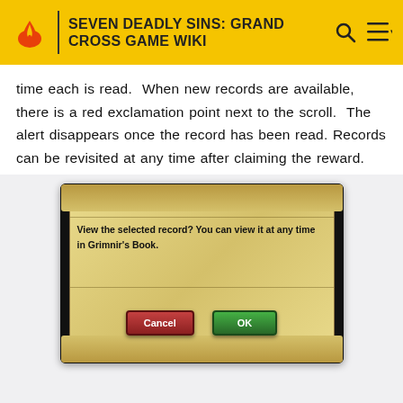SEVEN DEADLY SINS: GRAND CROSS GAME WIKI
time each is read.  When new records are available, there is a red exclamation point next to the scroll.  The alert disappears once the record has been read. Records can be revisited at any time after claiming the reward.
[Figure (screenshot): In-game dialog box on a parchment scroll background with text: 'View the selected record? You can view it at any time in Grimnir's Book.' with Cancel (red) and OK (green) buttons]
MORE INFORMATION